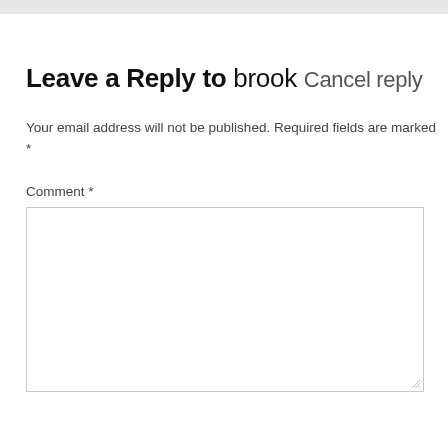Leave a Reply to brook Cancel reply
Your email address will not be published. Required fields are marked *
Comment *
[Figure (other): Empty comment text area input box with resize handle in bottom-right corner]